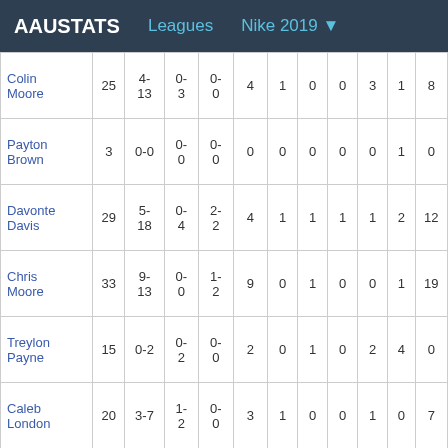AAUSTATS   Leagues   Nike 2019 ▼
| Player | MIN | FG | 3P | FT | REB | AST | STL | BLK | TO | PF | PTS |
| --- | --- | --- | --- | --- | --- | --- | --- | --- | --- | --- | --- |
| Colin Moore | 25 | 4-13 | 0-3 | 0-0 | 4 | 1 | 0 | 0 | 3 | 1 | 8 |
| Payton Brown | 3 | 0-0 | 0-0 | 0-0 | 0 | 0 | 0 | 0 | 0 | 1 | 0 |
| Davonte Davis | 29 | 5-18 | 0-4 | 2-2 | 4 | 1 | 1 | 1 | 1 | 2 | 12 |
| Chris Moore | 33 | 9-13 | 0-0 | 1-2 | 9 | 0 | 1 | 0 | 0 | 1 | 19 |
| Treylon Payne | 15 | 0-2 | 0-2 | 0-0 | 2 | 0 | 1 | 0 | 2 | 4 | 0 |
| Caleb London | 20 | 3-7 | 1-2 | 0-0 | 3 | 1 | 0 | 0 | 1 | 0 | 7 |
| Total | 184 | 27-70 | 2-16 | 9-12 | 36 | 6 | 5 | 2 | 7 | 14 | 65 |